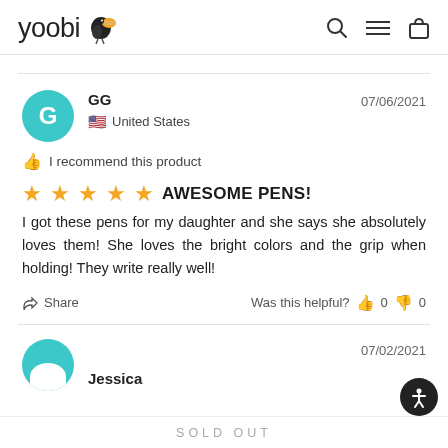yoobi
GG
United States
07/06/2021
I recommend this product
AWESOME PENS!
I got these pens for my daughter and she says she absolutely loves them! She loves the bright colors and the grip when holding! They write really well!
Share   Was this helpful?  0  0
Jessica
07/02/2021
SOLD OUT